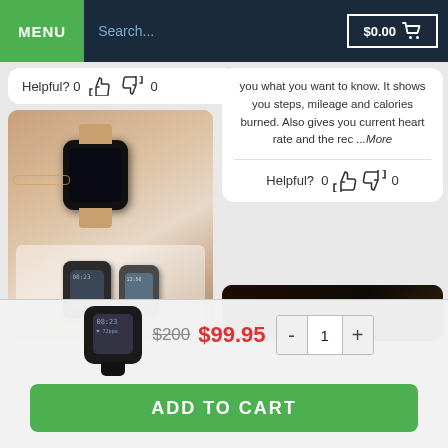MENU  Search...  $0.00 🛒
Helpful? 0 👍 👎 0
[Figure (photo): Photo of a smartwatch on a person's wrist with bracelet, next to product packaging showing two watch models]
you what you want to know. It shows you steps, mileage and calories burned. Also gives you current heart rate and the rec ...More
Helpful?  0 👍 👎 0
[Figure (photo): Dark photo, appears to be a dark interior/upholstery]
[Figure (photo): Small smartwatch product thumbnail image]
$200  $99.95  -  1  +
ADD TO CART